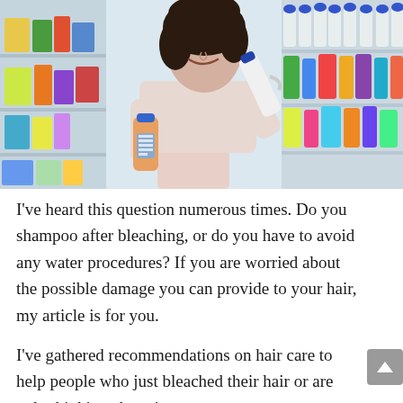[Figure (photo): A young woman with curly dark hair, wearing a light pink knit sweater, smiling while holding two cleaning/household product bottles in a store aisle with shelves of colorful products in the background.]
I've heard this question numerous times. Do you shampoo after bleaching, or do you have to avoid any water procedures? If you are worried about the possible damage you can provide to your hair, my article is for you.
I've gathered recommendations on hair care to help people who just bleached their hair or are only thinking about it...